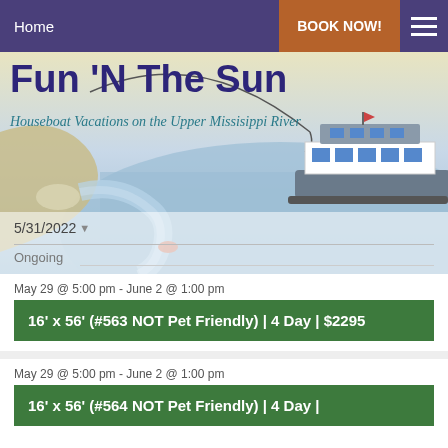Home | BOOK NOW!
Fun 'N The Sun
Houseboat Vacations on the Upper Missisippi River
[Figure (illustration): Illustrated houseboat on a river with fishing scene, sandy shore and water background]
5/31/2022
Ongoing
May 29 @ 5:00 pm - June 2 @ 1:00 pm
16' x 56' (#563 NOT Pet Friendly) | 4 Day | $2295
May 29 @ 5:00 pm - June 2 @ 1:00 pm
16' x 56' (#564 NOT Pet Friendly) | 4 Day |